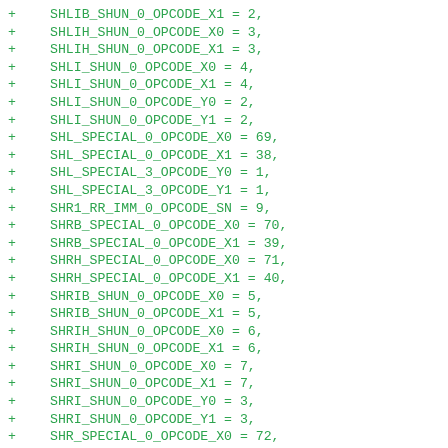+ SHLIB_SHUN_0_OPCODE_X1 = 2,
+ SHLIH_SHUN_0_OPCODE_X0 = 3,
+ SHLIH_SHUN_0_OPCODE_X1 = 3,
+ SHLI_SHUN_0_OPCODE_X0 = 4,
+ SHLI_SHUN_0_OPCODE_X1 = 4,
+ SHLI_SHUN_0_OPCODE_Y0 = 2,
+ SHLI_SHUN_0_OPCODE_Y1 = 2,
+ SHL_SPECIAL_0_OPCODE_X0 = 69,
+ SHL_SPECIAL_0_OPCODE_X1 = 38,
+ SHL_SPECIAL_3_OPCODE_Y0 = 1,
+ SHL_SPECIAL_3_OPCODE_Y1 = 1,
+ SHR1_RR_IMM_0_OPCODE_SN = 9,
+ SHRB_SPECIAL_0_OPCODE_X0 = 70,
+ SHRB_SPECIAL_0_OPCODE_X1 = 39,
+ SHRH_SPECIAL_0_OPCODE_X0 = 71,
+ SHRH_SPECIAL_0_OPCODE_X1 = 40,
+ SHRIB_SHUN_0_OPCODE_X0 = 5,
+ SHRIB_SHUN_0_OPCODE_X1 = 5,
+ SHRIH_SHUN_0_OPCODE_X0 = 6,
+ SHRIH_SHUN_0_OPCODE_X1 = 6,
+ SHRI_SHUN_0_OPCODE_X0 = 7,
+ SHRI_SHUN_0_OPCODE_X1 = 7,
+ SHRI_SHUN_0_OPCODE_Y0 = 3,
+ SHRI_SHUN_0_OPCODE_Y1 = 3,
+ SHR_SPECIAL_0_OPCODE_X0 = 72,